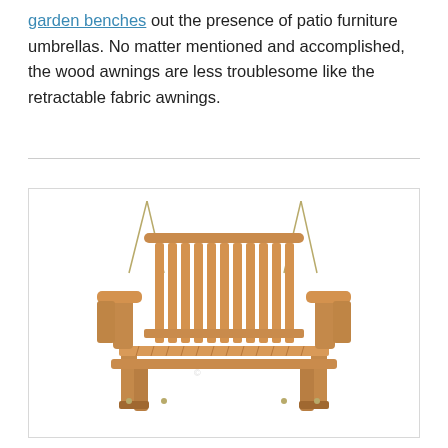garden benches out the presence of patio furniture umbrellas. No matter mentioned and accomplished, the wood awnings are less troublesome like the retractable fabric awnings.
[Figure (photo): A wooden garden swing bench with slatted back and seat, armrests on both sides, suspended by chains/ropes from above. Natural teak/wood color finish, photographed on white background.]